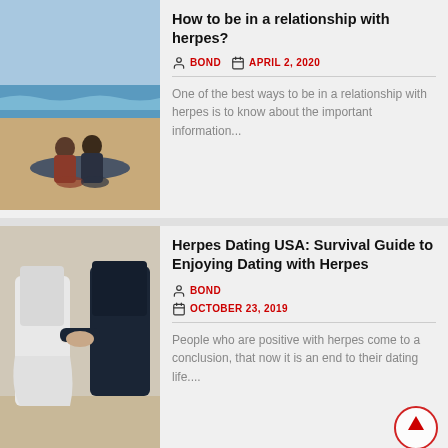[Figure (photo): Couple sitting together on a beach, viewed from behind]
How to be in a relationship with herpes?
BOND  APRIL 2, 2020
One of the best ways to be in a relationship with herpes is to know about the important information...
[Figure (photo): Two people holding hands, one in white dress, one in dark clothing]
Herpes Dating USA: Survival Guide to Enjoying Dating with Herpes
BOND  OCTOBER 23, 2019
People who are positive with herpes come to a conclusion, that now it is an end to their dating life....